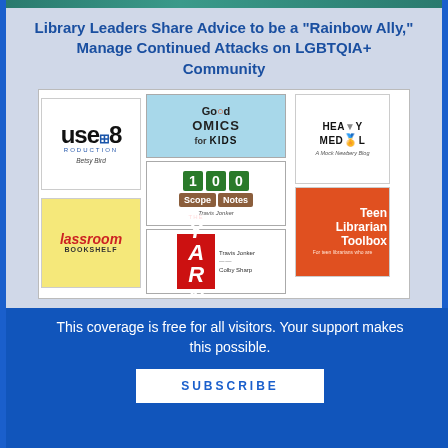Library Leaders Share Advice to be a "Rainbow Ally," Manage Continued Attacks on LGBTQIA+ Community
[Figure (illustration): A collage of children's and teen library blog logos including: A Mouse and the Gauge (Betsy Bird), Good Comics for Kids, 100 Scope Notes (Travis Jonker), Classroom Bookshelf, The Yarn (Travis Jonker and Colby Sharp), Heavy Medal (A Mock Newbery Blog), Teen Librarian Toolbox]
This coverage is free for all visitors. Your support makes this possible.
SUBSCRIBE